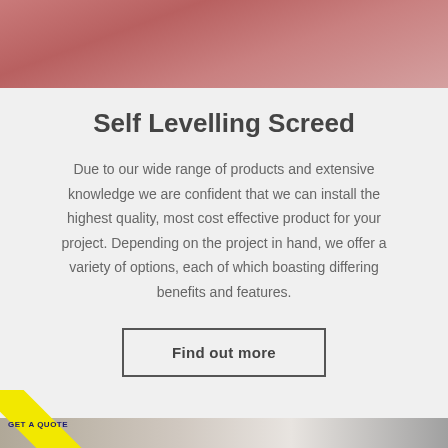[Figure (photo): Close-up photo of a pinkish-red screed or textured surface at the top of the page]
Self Levelling Screed
Due to our wide range of products and extensive knowledge we are confident that we can install the highest quality, most cost effective product for your project. Depending on the project in hand, we offer a variety of options, each of which boasting differing benefits and features.
Find out more
[Figure (photo): Bottom section showing another photo of a screed or flooring surface, with a yellow diagonal ribbon badge reading 'GET A QUOTE']